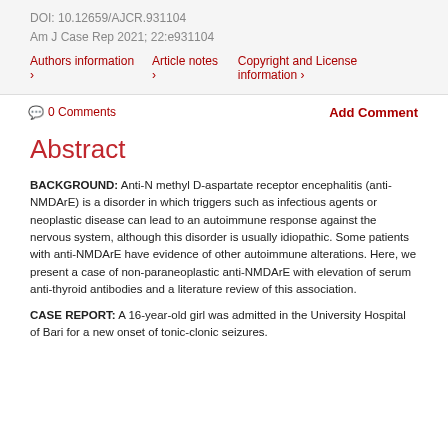DOI: 10.12659/AJCR.931104
Am J Case Rep 2021; 22:e931104
Authors information › Article notes › Copyright and License information ›
💬 0 Comments
Add Comment
Abstract
BACKGROUND: Anti-N methyl D-aspartate receptor encephalitis (anti-NMDArE) is a disorder in which triggers such as infectious agents or neoplastic disease can lead to an autoimmune response against the nervous system, although this disorder is usually idiopathic. Some patients with anti-NMDArE have evidence of other autoimmune alterations. Here, we present a case of non-paraneoplastic anti-NMDArE with elevation of serum anti-thyroid antibodies and a literature review of this association.
CASE REPORT: A 16-year-old girl was admitted in the University Hospital of Bari for a new onset of tonic-clonic seizures.